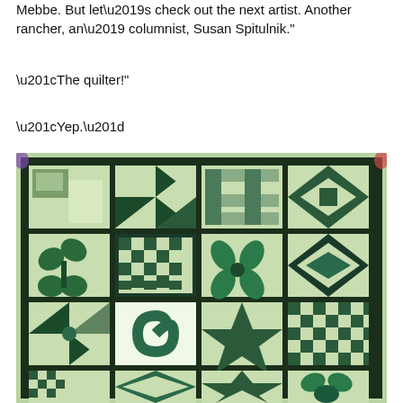Mebbe. But let’s check out the next artist. Another rancher, an’ columnist, Susan Spitulnik.”
“The quilter!”
“Yep.”
[Figure (photo): A colorful green and black quilt displayed flat, featuring a 4-column grid of various quilt block patterns including pinwheels, stars, checkerboards, leaf designs, snail trails, and other geometric patterns in shades of green, teal, and white on a dark background.]